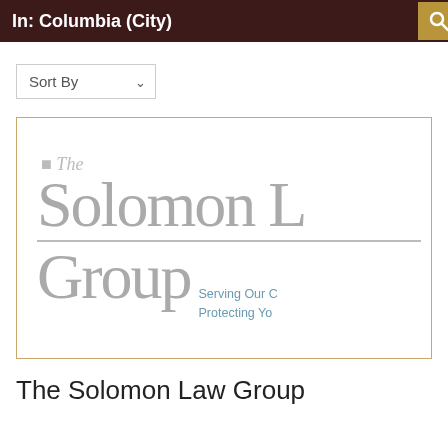In: Columbia (City)
Sort By
[Figure (logo): The Solomon Law Group logo featuring large gray serif text reading 'The Solomon L' on top line and 'Group' with tagline 'Serving Our C / Protecting Yo' on bottom, partially cropped]
The Solomon Law Group